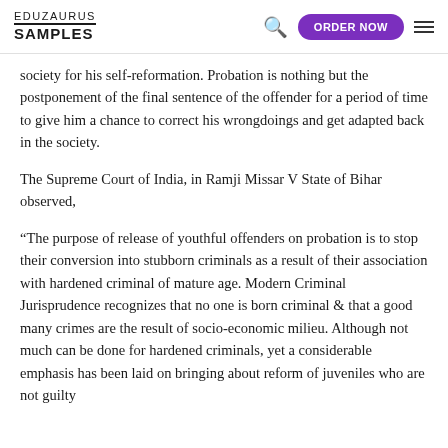EDUZAURUS SAMPLES
society for his self-reformation. Probation is nothing but the postponement of the final sentence of the offender for a period of time to give him a chance to correct his wrongdoings and get adapted back in the society.
The Supreme Court of India, in Ramji Missar V State of Bihar observed,
“The purpose of release of youthful offenders on probation is to stop their conversion into stubborn criminals as a result of their association with hardened criminal of mature age. Modern Criminal Jurisprudence recognizes that no one is born criminal & that a good many crimes are the result of socio-economic milieu. Although not much can be done for hardened criminals, yet a considerable emphasis has been laid on bringing about reform of juveniles who are not guilty of serious offences and preventing their association with